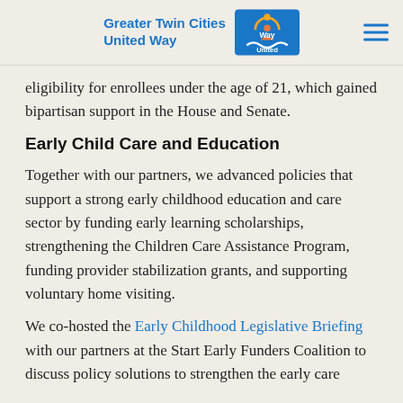Greater Twin Cities United Way
eligibility for enrollees under the age of 21, which gained bipartisan support in the House and Senate.
Early Child Care and Education
Together with our partners, we advanced policies that support a strong early childhood education and care sector by funding early learning scholarships, strengthening the Children Care Assistance Program, funding provider stabilization grants, and supporting voluntary home visiting.
We co-hosted the Early Childhood Legislative Briefing with our partners at the Start Early Funders Coalition to discuss policy solutions to strengthen the early care…